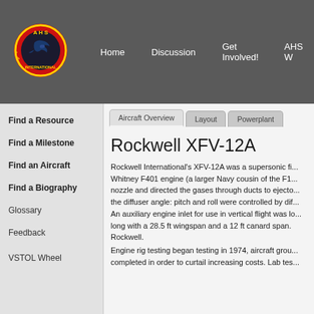[Figure (logo): AHS International logo - circular red and yellow badge with a hummingbird silhouette]
Home   Discussion   Get Involved!   AHS W
Find a Resource
Find a Milestone
Find an Aircraft
Find a Biography
Glossary
Feedback
VSTOL Wheel
Rockwell XFV-12A
Rockwell International's XFV-12A was a supersonic fi... Whitney F401 engine (a larger Navy cousin of the F1... nozzle and directed the gases through ducts to ejecto... the diffuser angle: pitch and roll were controlled by dif... An auxiliary engine inlet for use in vertical flight was lo... long with a 28.5 ft wingspan and a 12 ft canard span. Rockwell.
Engine rig testing began testing in 1974, aircraft grou... completed in order to curtail increasing costs. Lab tes...